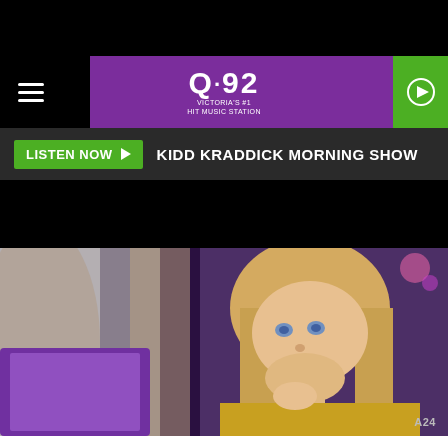[Figure (screenshot): Q92 radio station website screenshot showing navigation bar with hamburger menu, Q92 purple logo, green play button, listen now bar with KIDD KRADDICK MORNING SHOW, black ad area, and a photo of a young blonde girl looking at a laptop computer with A24 badge in corner]
EIGHTH GRADERS CAN FINALLY